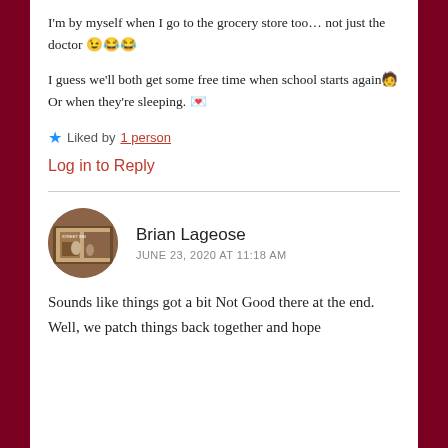I'm by myself when I go to the grocery store too… not just the doctor 😉😂😂
I guess we'll both get some free time when school starts again🧑 Or when they're sleeping. 💌
⭐ Liked by 1 person
Log in to Reply
Brian Lageose
JUNE 23, 2020 AT 11:18 AM
Sounds like things got a bit Not Good there at the end. Well, we patch things back together and hope